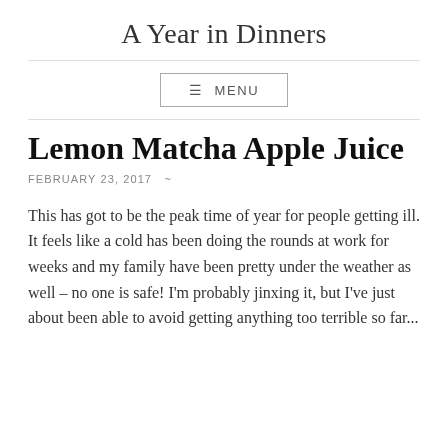A Year in Dinners
☰ MENU
Lemon Matcha Apple Juice
FEBRUARY 23, 2017  ~
This has got to be the peak time of year for people getting ill. It feels like a cold has been doing the rounds at work for weeks and my family have been pretty under the weather as well – no one is safe! I'm probably jinxing it, but I've just about been able to avoid getting anything too terrible so far...